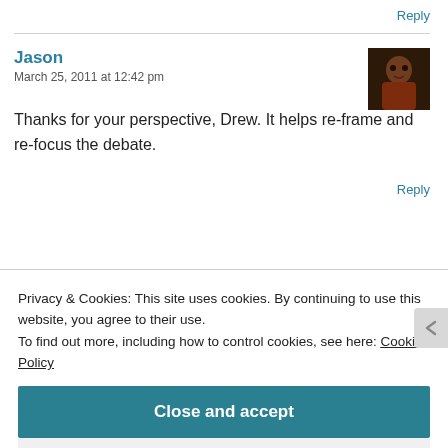Reply
Jason
March 25, 2011 at 12:42 pm
[Figure (photo): User avatar photo of Jason, showing a person with reddish/brown tones]
Thanks for your perspective, Drew. It helps re-frame and re-focus the debate.
Reply
Privacy & Cookies: This site uses cookies. By continuing to use this website, you agree to their use.
To find out more, including how to control cookies, see here: Cookie Policy
Close and accept